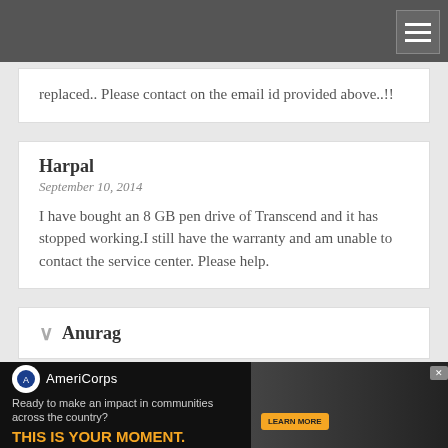replaced.. Please contact on the email id provided above..!!
Harpal
September 10, 2014
I have bought an 8 GB pen drive of Transcend and it has stopped working.I still have the warranty and am unable to contact the service center. Please help.
Anurag
[Figure (screenshot): AmeriCorps advertisement banner: 'Ready to make an impact in communities across the country? THIS IS YOUR MOMENT.' with LEARN MORE button and photo of people at computers.]